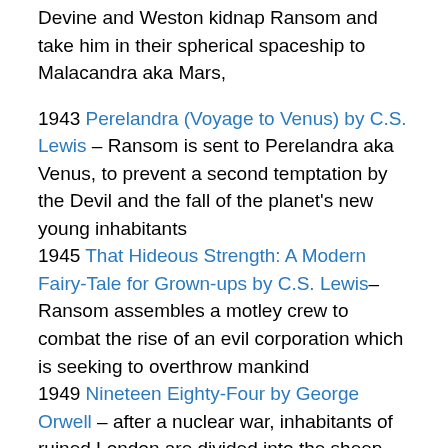Devine and Weston kidnap Ransom and take him in their spherical spaceship to Malacandra aka Mars,
1943 Perelandra (Voyage to Venus) by C.S. Lewis – Ransom is sent to Perelandra aka Venus, to prevent a second temptation by the Devil and the fall of the planet's new young inhabitants
1945 That Hideous Strength: A Modern Fairy-Tale for Grown-ups by C.S. Lewis– Ransom assembles a motley crew to combat the rise of an evil corporation which is seeking to overthrow mankind
1949 Nineteen Eighty-Four by George Orwell – after a nuclear war, inhabitants of ruined London are divided into the sheep-like 'proles' and members of the Party who are kept under unremitting surveillance
1950 I, Robot by Isaac Asimov – nine short stories about